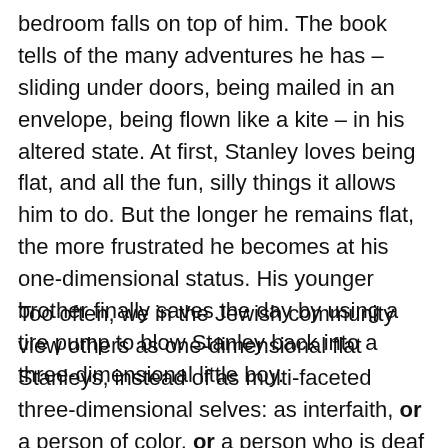bedroom falls on top of him. The book tells of the many adventures he has – sliding under doors, being mailed in an envelope, being flown like a kite – in his altered state. At first, Stanley loves being flat, and all the fun, silly things it allows him to do. But the longer he remains flat, the more frustrated he becomes at his one-dimensional status. His younger brother finally saves the day by using a tire pump to blow Stanley back into a three-dimensional little boy.
Too often, we in the Jewish community view others as one-dimensional flat Stanleys, instead of as multi-faceted three-dimensional selves: as interfaith, or a person of color, or a person who is deaf or hard of hearing, or a member of a same-sex couple. I see the cutting edge of Judaism in North America in the ways that intersecting identities enhance and broaden our